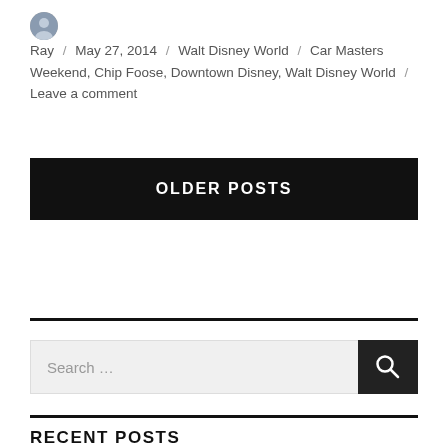Ray / May 27, 2014 / Walt Disney World / Car Masters Weekend, Chip Foose, Downtown Disney, Walt Disney World / Leave a comment
OLDER POSTS
[Figure (other): Search box with text 'Search ...' and a dark search button with magnifying glass icon]
RECENT POSTS
Walt Disney World to End Advanced Sales of